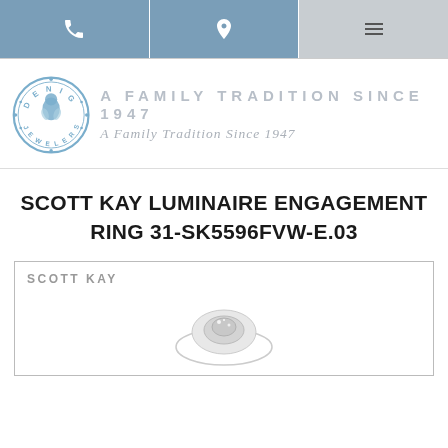Navigation bar with phone, location, and menu icons
[Figure (logo): Denig Jewelers circular logo with tagline 'A Family Tradition Since 1947']
SCOTT KAY LUMINAIRE ENGAGEMENT RING 31-SK5596FVW-E.03
[Figure (photo): Product card showing Scott Kay engagement ring photo]